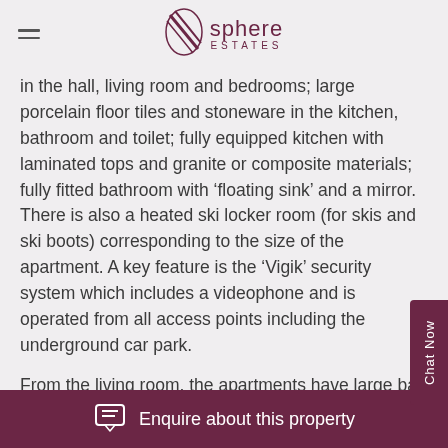Sphere Estates
in the hall, living room and bedrooms; large porcelain floor tiles and stoneware in the kitchen, bathroom and toilet; fully equipped kitchen with laminated tops and granite or composite materials; fully fitted bathroom with ‘floating sink’ and a mirror. There is also a heated ski locker room (for skis and ski boots) corresponding to the size of the apartment. A key feature is the ‘Vigik’ security system which includes a videophone and is operated from all access points including the underground car park.
From the living room, the apartments have large bay windows leading to spacious terraces to take ever advantage of the magnificent mountain views.
Enquire about this property